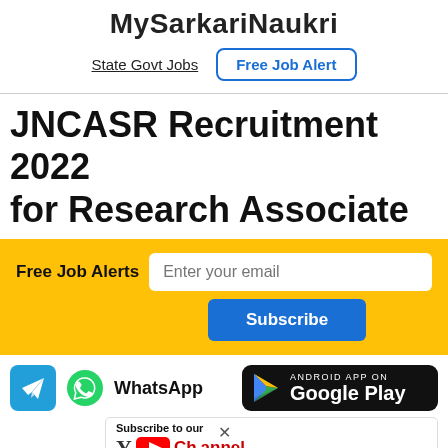MySarkariNaukri
State Govt Jobs   Free Job Alert
JNCASR Recruitment 2022 for Research Associate
Free Job Alerts   Enter your email   Subscribe
[Figure (infographic): Social media icons row: Telegram icon, WhatsApp icon with label, Google Play button, Subscribe to our YouTube channel banner]
Subscribe to our